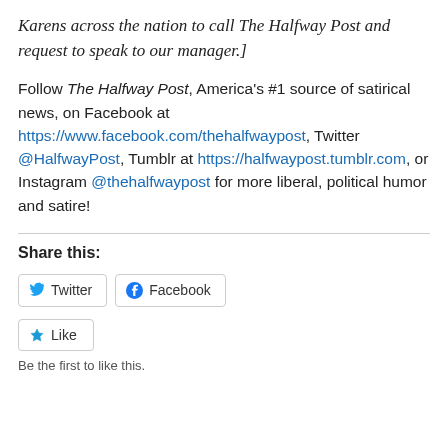Karens across the nation to call The Halfway Post and request to speak to our manager.]
Follow The Halfway Post, America's #1 source of satirical news, on Facebook at https://www.facebook.com/thehalfwaypost, Twitter @HalfwayPost, Tumblr at https://halfwaypost.tumblr.com, or Instagram @thehalfwaypost for more liberal, political humor and satire!
Share this:
Twitter  Facebook
Like
Be the first to like this.